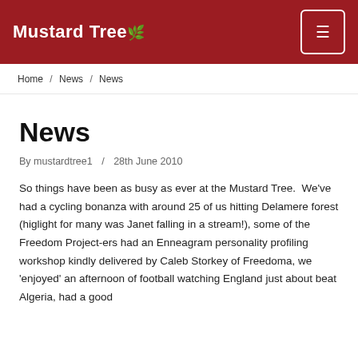Mustard Tree
Home / News / News
News
By mustardtree1 / 28th June 2010
So things have been as busy as ever at the Mustard Tree.  We've had a cycling bonanza with around 25 of us hitting Delamere forest (higlight for many was Janet falling in a stream!), some of the Freedom Project-ers had an Enneagram personality profiling workshop kindly delivered by Caleb Storkey of Freedoma, we 'enjoyed' an afternoon of football watching England just about beat Algeria, had a good